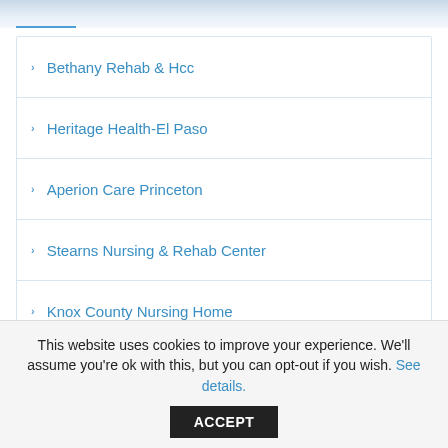[Figure (photo): Top portion of a webpage screenshot showing a faded header image area with a blue underline tab indicator]
Bethany Rehab & Hcc
Heritage Health-El Paso
Aperion Care Princeton
Stearns Nursing & Rehab Center
Knox County Nursing Home
Landmark Of Des Plaines Rehab
Crystal Pines Rehab & Hcc
Pria Of Belleville
This website uses cookies to improve your experience. We'll assume you're ok with this, but you can opt-out if you wish. See details. ACCEPT